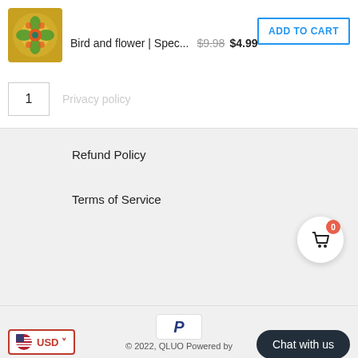[Figure (screenshot): Product image thumbnail: colorful bird and flower decorative item]
Bird and flower | Spec...  $9.98  $4.99
ADD TO CART
1
Privacy policy
Refund Policy
Terms of Service
[Figure (logo): PayPal P logo]
© 2022, QLUO Powered by
Chat with us
USD